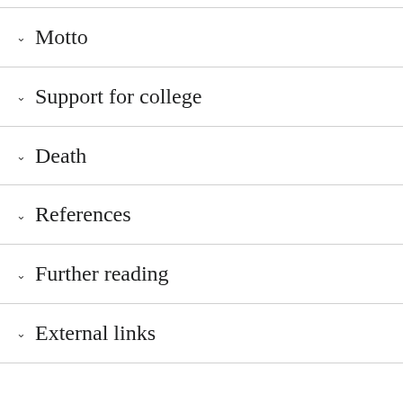Motto
Support for college
Death
References
Further reading
External links